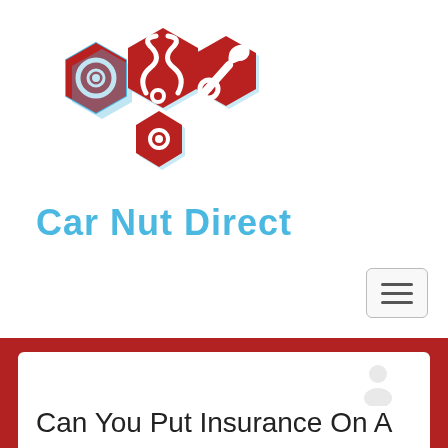[Figure (logo): Car Nut Direct logo with red hexagonal mechanical icons (gear/nut, wrench, gear with snake) and light blue brand name text 'Car Nut Direct']
Can You Put Insurance On A